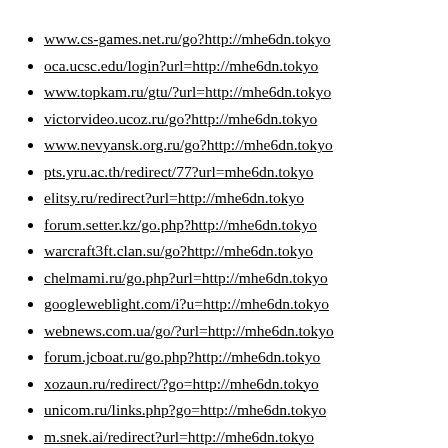www.cs-games.net.ru/go?http://mhe6dn.tokyo
oca.ucsc.edu/login?url=http://mhe6dn.tokyo
www.topkam.ru/gtu/?url=http://mhe6dn.tokyo
victorvideo.ucoz.ru/go?http://mhe6dn.tokyo
www.nevyansk.org.ru/go?http://mhe6dn.tokyo
pts.yru.ac.th/redirect/77?url=mhe6dn.tokyo
elitsy.ru/redirect?url=http://mhe6dn.tokyo
forum.setter.kz/go.php?http://mhe6dn.tokyo
warcraft3ft.clan.su/go?http://mhe6dn.tokyo
chelmami.ru/go.php?url=http://mhe6dn.tokyo
googleweblight.com/i?u=http://mhe6dn.tokyo
webnews.com.ua/go/?url=http://mhe6dn.tokyo
forum.jcboat.ru/go.php?http://mhe6dn.tokyo
xozaun.ru/redirect/?go=http://mhe6dn.tokyo
unicom.ru/links.php?go=http://mhe6dn.tokyo
m.snek.ai/redirect?url=http://mhe6dn.tokyo
sns.51.ca/link.php?url=http://mhe6dn.tokyo
fastzone.org/j.php?url=http://mhe6dn.tokyo